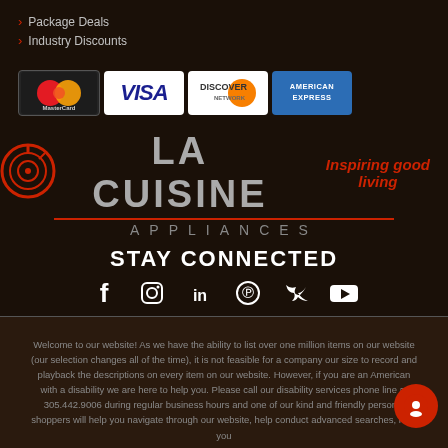> Package Deals
> Industry Discounts
[Figure (logo): Payment method logos: MasterCard, Visa, Discover Network, American Express]
[Figure (logo): La Cuisine Appliances logo with tagline 'Inspiring good living']
STAY CONNECTED
[Figure (infographic): Social media icons: Facebook, Instagram, LinkedIn, Pinterest, Twitter, YouTube]
Welcome to our website! As we have the ability to list over one million items on our website (our selection changes all of the time), it is not feasible for a company our size to record and playback the descriptions on every item on our website. However, if you are an American with a disability we are here to help you. Please call our disability services phone line at 305.442.9006 during regular business hours and one of our kind and friendly personal shoppers will help you navigate through our website, help conduct advanced searches, help you